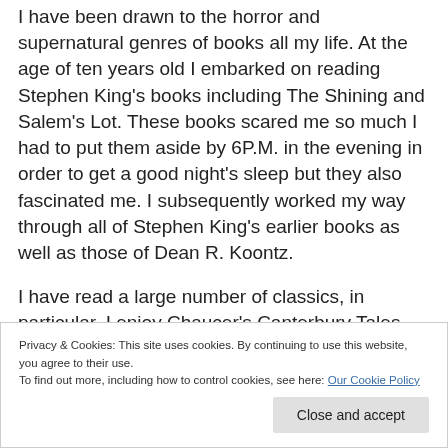I have been drawn to the horror and supernatural genres of books all my life. At the age of ten years old I embarked on reading Stephen King's books including The Shining and Salem's Lot. These books scared me so much I had to put them aside by 6P.M. in the evening in order to get a good night's sleep but they also fascinated me. I subsequently worked my way through all of Stephen King's earlier books as well as those of Dean R. Koontz.
I have read a large number of classics, in particular, I enjoy Chaucer's Canterbury Tales, Charles Dickens and the works of the Brontë sisters
Privacy & Cookies: This site uses cookies. By continuing to use this website, you agree to their use.
To find out more, including how to control cookies, see here: Our Cookie Policy
Close and accept